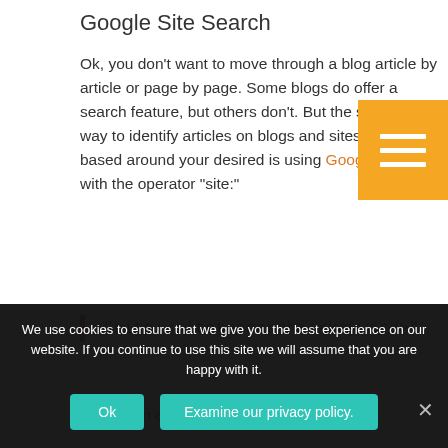Google Site Search
Ok, you don't want to move through a blog article by article or page by page. Some blogs do offer a search feature, but others don't. But the simplest way to identify articles on blogs and sites that are based around your desired is using Google.com with the operator “site:”
“site:<sitetosearch> <keyword>”
Here is an example:
We use cookies to ensure that we give you the best experience on our website. If you continue to use this site we will assume that you are happy with it.
Ok
Examine our privacy policy.